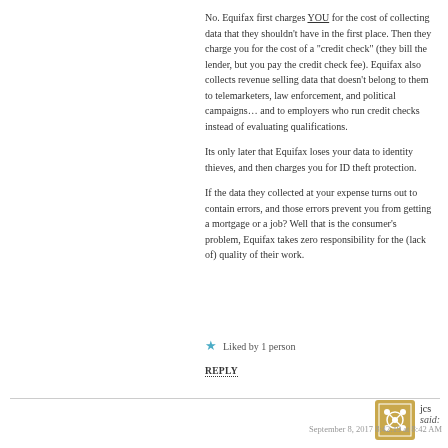No. Equifax first charges YOU for the cost of collecting data that they shouldn't have in the first place. Then they charge you for the cost of a "credit check" (they bill the lender, but you pay the credit check fee). Equifax also collects revenue selling data that doesn't belong to them to telemarketers, law enforcement, and political campaigns… and to employers who run credit checks instead of evaluating qualifications.
Its only later that Equifax loses your data to identity thieves, and then charges you for ID theft protection.
If the data they collected at your expense turns out to contain errors, and those errors prevent you from getting a mortgage or a job? Well that is the consumer's problem, Equifax takes zero responsibility for the (lack of) quality of their work.
★ Liked by 1 person
REPLY
jcs said:
September 8, 2017 8:42:19 at 8:42 AM